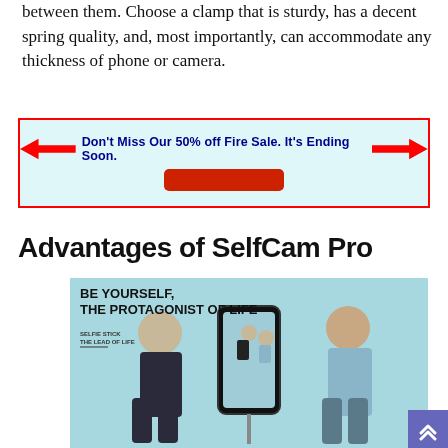between them. Choose a clamp that is sturdy, has a decent spring quality, and, most importantly, can accommodate any thickness of phone or camera.
[Figure (infographic): Red-bordered light blue advertisement banner with two red arrows pointing inward toward bold navy text reading: Don't Miss Our 50% off Fire Sale. It's Ending Soon. Below is a red rounded button.]
Advantages of SelfCam Pro
[Figure (photo): Product marketing photo for a selfie stick showing three women from behind with arms raised, standing in front of a teal/blue wall. Overlaid text reads: BE YOURSELF, THE PROTAGONIST OF LIFE. Smaller text: SELFIE STICK THE LEAD OF LIFE. A smartphone on a selfie stick is shown in the center reflecting the same three women.]